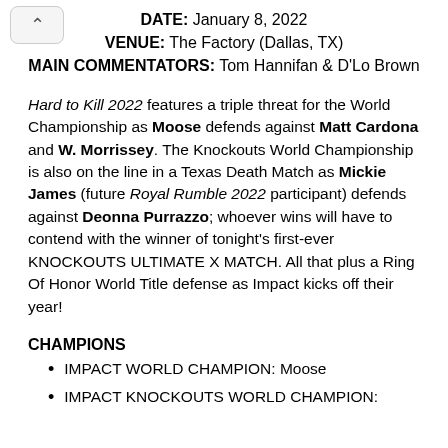DATE: January 8, 2022
VENUE: The Factory (Dallas, TX)
MAIN COMMENTATORS: Tom Hannifan & D'Lo Brown
Hard to Kill 2022 features a triple threat for the World Championship as Moose defends against Matt Cardona and W. Morrissey. The Knockouts World Championship is also on the line in a Texas Death Match as Mickie James (future Royal Rumble 2022 participant) defends against Deonna Purrazzo; whoever wins will have to contend with the winner of tonight's first-ever KNOCKOUTS ULTIMATE X MATCH. All that plus a Ring Of Honor World Title defense as Impact kicks off their year!
CHAMPIONS
IMPACT WORLD CHAMPION: Moose
IMPACT KNOCKOUTS WORLD CHAMPION: